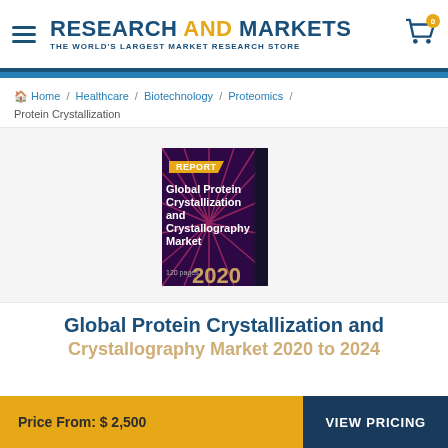RESEARCH AND MARKETS — THE WORLD'S LARGEST MARKET RESEARCH STORE
Home / Healthcare / Biotechnology / Proteomics / Protein Crystallization
[Figure (illustration): Book cover for Global Protein Crystallization and Crystallography Market report, 2020, 120 pages, dark purple/magenta starburst design with REPORT label badge]
Global Protein Crystallization and Crystallography Market 2020 to 2024
Price From: $ 2,500